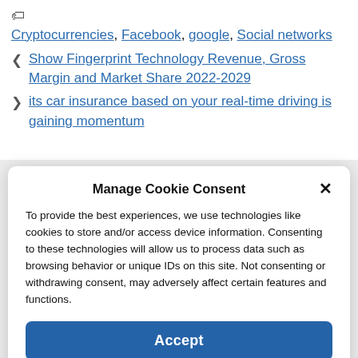🏷 Cryptocurrencies, Facebook, google, Social networks
< Show Fingerprint Technology Revenue, Gross Margin and Market Share 2022-2029
> its car insurance based on your real-time driving is gaining momentum
Manage Cookie Consent
To provide the best experiences, we use technologies like cookies to store and/or access device information. Consenting to these technologies will allow us to process data such as browsing behavior or unique IDs on this site. Not consenting or withdrawing consent, may adversely affect certain features and functions.
Accept
Cookie Policy